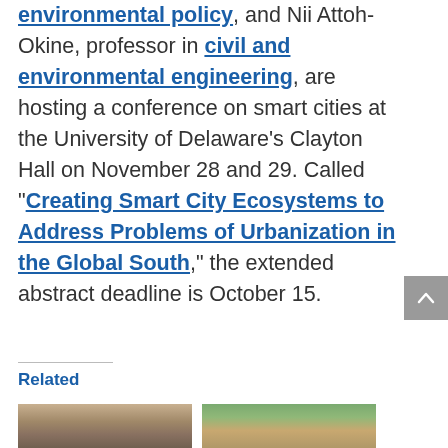environmental policy, and Nii Attoh-Okine, professor in civil and environmental engineering, are hosting a conference on smart cities at the University of Delaware's Clayton Hall on November 28 and 29. Called "Creating Smart City Ecosystems to Address Problems of Urbanization in the Global South," the extended abstract deadline is October 15.
Related
[Figure (photo): Headshot photo of a man]
[Figure (photo): Headshot photo of a woman outdoors]